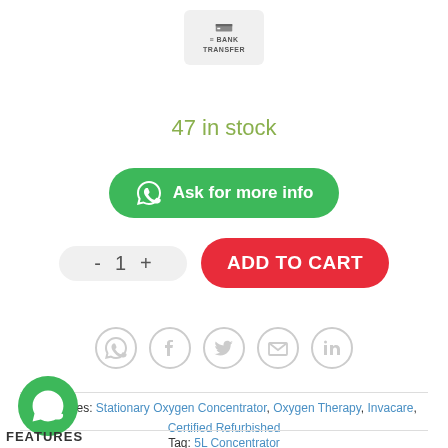[Figure (logo): Bank Transfer payment method logo, grey rounded rectangle with bank icon and text BANK TRANSFER]
47 in stock
[Figure (other): Green rounded button with WhatsApp icon and text 'Ask for more info']
[Figure (other): Quantity selector showing minus, 1, plus controls and red ADD TO CART button]
[Figure (other): Row of 5 social share icons: WhatsApp, Facebook, Twitter, Email, LinkedIn — all grey outlined circles]
Categories: Stationary Oxygen Concentrator, Oxygen Therapy, Invacare, Certified Refurbished
Tag: 5L Concentrator
[Figure (logo): Green WhatsApp chat bubble icon at bottom left]
FEATURES